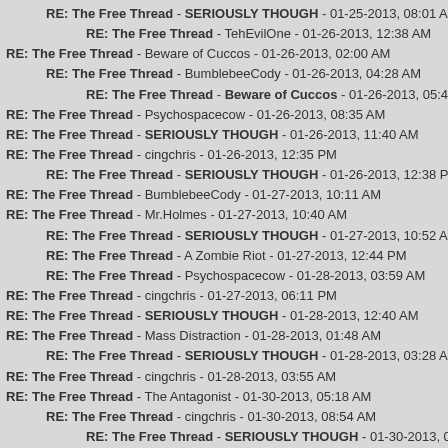RE: The Free Thread - SERIOUSLY THOUGH - 01-25-2013, 08:01 AM
RE: The Free Thread - TehEvilOne - 01-26-2013, 12:38 AM
RE: The Free Thread - Beware of Cuccos - 01-26-2013, 02:00 AM
RE: The Free Thread - BumblebeeCody - 01-26-2013, 04:28 AM
RE: The Free Thread - Beware of Cuccos - 01-26-2013, 05:41 AM
RE: The Free Thread - Psychospacecow - 01-26-2013, 08:35 AM
RE: The Free Thread - SERIOUSLY THOUGH - 01-26-2013, 11:40 AM
RE: The Free Thread - cingchris - 01-26-2013, 12:35 PM
RE: The Free Thread - SERIOUSLY THOUGH - 01-26-2013, 12:38 PM
RE: The Free Thread - BumblebeeCody - 01-27-2013, 10:11 AM
RE: The Free Thread - Mr.Holmes - 01-27-2013, 10:40 AM
RE: The Free Thread - SERIOUSLY THOUGH - 01-27-2013, 10:52 AM
RE: The Free Thread - A Zombie Riot - 01-27-2013, 12:44 PM
RE: The Free Thread - Psychospacecow - 01-28-2013, 03:59 AM
RE: The Free Thread - cingchris - 01-27-2013, 06:11 PM
RE: The Free Thread - SERIOUSLY THOUGH - 01-28-2013, 12:40 AM
RE: The Free Thread - Mass Distraction - 01-28-2013, 01:48 AM
RE: The Free Thread - SERIOUSLY THOUGH - 01-28-2013, 03:28 AM
RE: The Free Thread - cingchris - 01-28-2013, 03:55 AM
RE: The Free Thread - The Antagonist - 01-30-2013, 05:18 AM
RE: The Free Thread - cingchris - 01-30-2013, 08:54 AM
RE: The Free Thread - SERIOUSLY THOUGH - 01-30-2013, 09:13 AM
RE: The Free Thread - cingchris - 01-30-2013, 09:18 AM
RE: The Free Thread - The Antagonist - 01-30-2013, 08:27 PM
RE: The Free Thread - A Zombie Riot - 01-30-2013, 02:55 AM (partial)